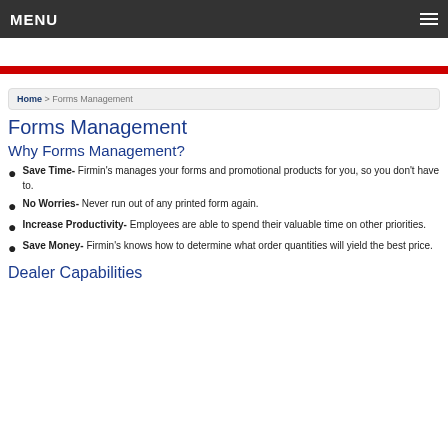MENU
Home > Forms Management
Forms Management
Why Forms Management?
Save Time- Firmin's manages your forms and promotional products for you, so you don't have to.
No Worries- Never run out of any printed form again.
Increase Productivity- Employees are able to spend their valuable time on other priorities.
Save Money- Firmin's knows how to determine what order quantities will yield the best price.
Dealer Capabilities